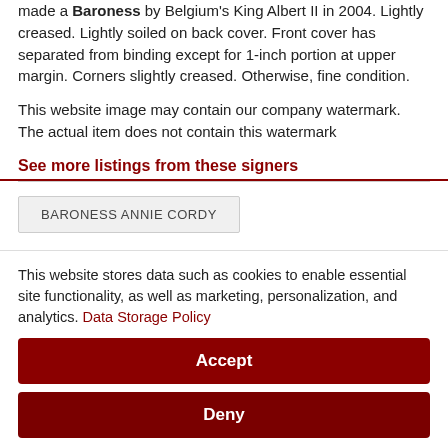made a Baroness by Belgium's King Albert II in 2004. Lightly creased. Lightly soiled on back cover. Front cover has separated from binding except for 1-inch portion at upper margin. Corners slightly creased. Otherwise, fine condition.
This website image may contain our company watermark. The actual item does not contain this watermark
See more listings from these signers
BARONESS ANNIE CORDY
This website stores data such as cookies to enable essential site functionality, as well as marketing, personalization, and analytics. Data Storage Policy
Accept
Deny